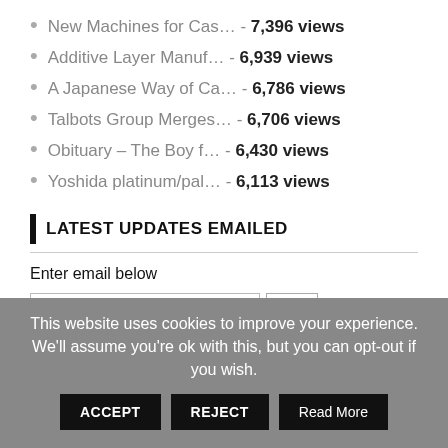New Machines for Cas… - 7,396 views
Additive Layer Manuf… - 6,939 views
A Japanese Way of Ca… - 6,786 views
Talbots Group Merges… - 6,706 views
Obituary – The Boy f… - 6,430 views
Yoshida platinum/pal… - 6,113 views
LATEST UPDATES EMAILED
Enter email below
E-Mail Address
Go
Privacy Policy
You will only receive a daily digest when new items have been posted.
This website uses cookies to improve your experience. We'll assume you're ok with this, but you can opt-out if you wish.